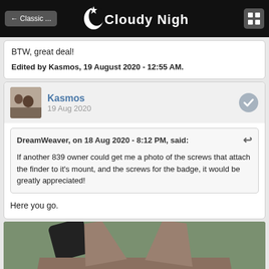← Classic ...  Cloudy Nights  [grid icon]
BTW, great deal!
Edited by Kasmos, 19 August 2020 - 12:55 AM.
Kasmos
19 Aug 2020
DreamWeaver, on 18 Aug 2020 - 8:12 PM, said:
If another 839 owner could get me a photo of the screws that attach the finder to it's mount, and the screws for the badge, it would be greatly appreciated!
Here you go.
[Figure (photo): Close-up photograph of a telescope finder mount bracket showing two screws, the bracket is metallic brownish-grey, on a green textured background with a black cylindrical telescope part visible at the top.]